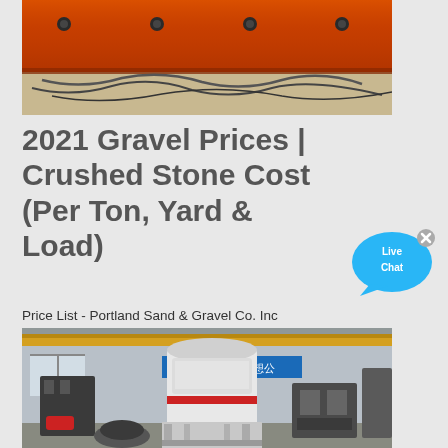[Figure (photo): Close-up of an orange metal plate with bolts and cables/wires on a surface below]
2021 Gravel Prices | Crushed Stone Cost (Per Ton, Yard & Load)
[Figure (illustration): Live Chat button - blue speech bubble icon with 'Live Chat' text and an X close button]
Price List - Portland Sand & Gravel Co. Inc
[Figure (photo): Industrial stone crushing machine in a factory/warehouse setting with yellow overhead crane beams and Chinese text banner in background]